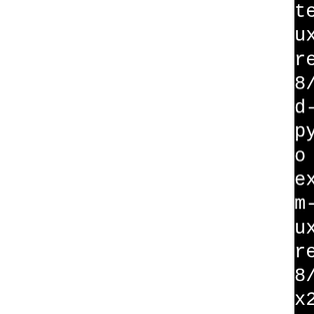tem-all/usev8/mongo/db/tt-ux2/cxx_i486-pld-linux-g+-recpp_pcre_snappy/use-sys-8/mongo/pch.o build/linux2-d-linux-g++/extralib_pcrec-py/use-system-all/usev8/mo-o build/linux2/cxx_i486-pl-extralib_pcrecpp_pcre_snap-m-all/usev8/mongo/s/config-ux2/cxx_i486-pld-linux-g+-recpp_pcre_snappy/use-syst-8/mongo/s/d_chunk_manager-x2/cxx_i486-pld-linux-g++/-ecpp_pcre_snappy/use-syste-mongo/s/d_logic.o build/li-6-pld-linux-g++/extralib_p-snappy/use-system-all/usev-migrate.o build/linux2/cxx-nux-g++/extralib_pcrecpp_p-se-system-all/usev8/mongo/s-build/linux2/cxx_i486-pld--tralib_pcrecpp_pcre_snappy-all/usev8/mongo/s/d_state-x2/cxx_i486-pld-linux-g++